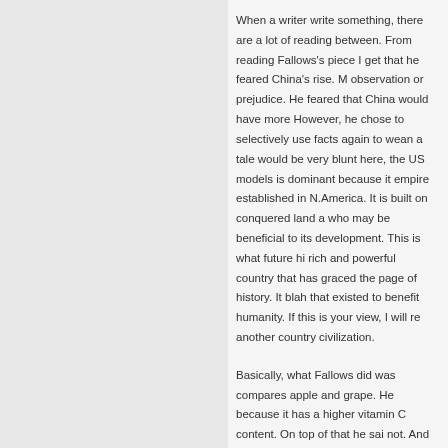When a writer write something, there are a lot of reading between. From reading Fallows's piece I get that he feared China's rise. M observation or prejudice. He feared that China would have more However, he chose to selectively use facts again to wean a tale would be very blunt here, the US models is dominant because it empire established in N.America. It is built on conquered land a who may be beneficial to its development. This is what future hi rich and powerful country that has graced the page of history. It blah that existed to benefit humanity. If this is your view, I will re another country civilization.
Basically, what Fallows did was compares apple and grape. He because it has a higher vitamin C content. On top of that he sai not. And he again insinuate that the grape is better because win this is what many people who harboured superior attitude (but m
Jimmy
May 16th, 2012 at 13:31 | #19
Way to go, yinyang. This is the most detailed comment on a arti
Ray
May 16th, 2012 at 13:40 | #20
@melektaus Exactly, those guys failed to see through their own narrow mind Australia who they have caused more pain and destruction? Ch